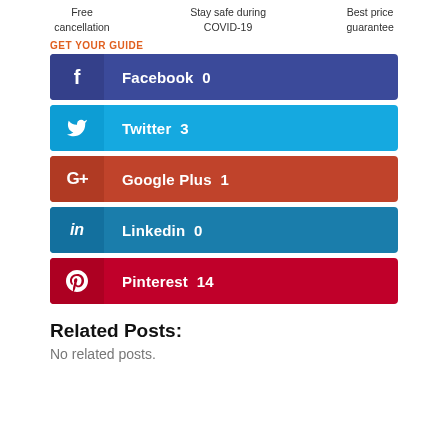Free cancellation  Stay safe during COVID-19  Best price guarantee
GET YOUR GUIDE
[Figure (infographic): Social share buttons: Facebook 0, Twitter 3, Google Plus 1, Linkedin 0, Pinterest 14]
Related Posts:
No related posts.